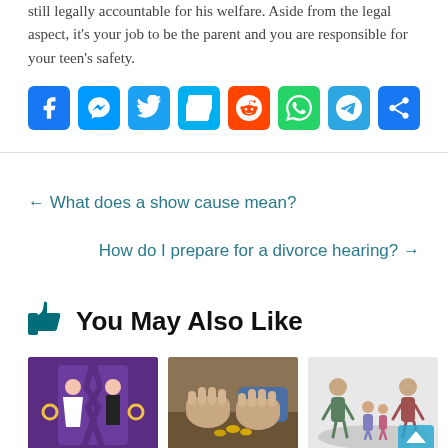still legally accountable for his welfare. Aside from the legal aspect, it's your job to be the parent and you are responsible for your teen's safety.
[Figure (infographic): Social sharing buttons: Facebook, Messenger, Twitter, Skype, Reddit, WhatsApp, Telegram, Share]
← What does a show cause mean?
How do I prepare for a divorce hearing? →
You May Also Like
[Figure (illustration): Cartoon illustration of a bride and groom separated by a crack on a purple background]
[Figure (photo): Photo of two people's fists on a table with coins]
[Figure (illustration): Cartoon illustration of two adults and children on a grey background with a scroll-to-top arrow]